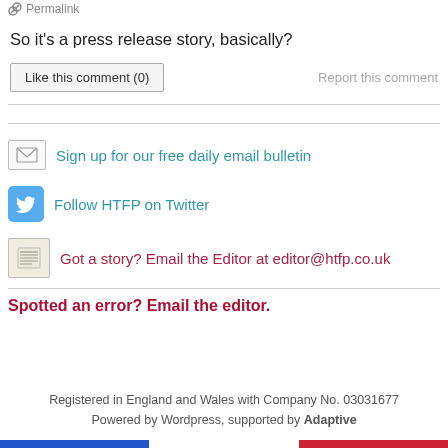Permalink
So it's a press release story, basically?
Like this comment (0)
Report this comment
Sign up for our free daily email bulletin
Follow HTFP on Twitter
Got a story? Email the Editor at editor@htfp.co.uk
Spotted an error? Email the editor.
Registered in England and Wales with Company No. 03031677
Powered by Wordpress, supported by Adaptive